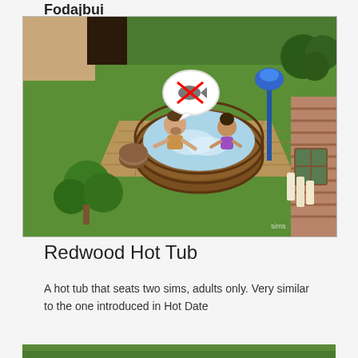Fodajbui
[Figure (screenshot): Screenshot from The Sims game showing two adult sim characters sitting in a wooden redwood hot tub on a deck, surrounded by green grass and trees, with a speech bubble showing a crossed-out fish icon above one sim. A blue lamp post and log cabin wall are visible in the background.]
Redwood Hot Tub
A hot tub that seats two sims, adults only. Very similar to the one introduced in Hot Date
[Figure (screenshot): Partial screenshot of another item, cropped at bottom of page.]